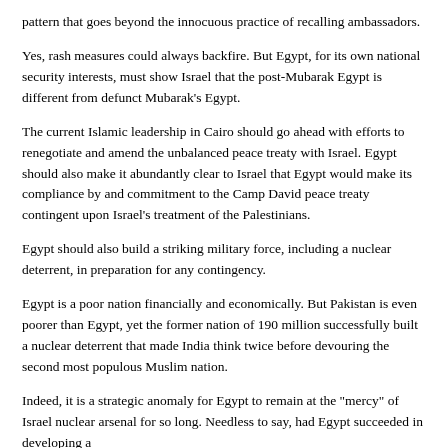pattern that goes beyond the innocuous practice of recalling ambassadors.
Yes, rash measures could always backfire. But Egypt, for its own national security interests, must show Israel that the post-Mubarak Egypt is different from defunct Mubarak's Egypt.
The current Islamic leadership in Cairo should go ahead with efforts to renegotiate and amend the unbalanced peace treaty with Israel. Egypt should also make it abundantly clear to Israel that Egypt would make its compliance by and commitment to the Camp David peace treaty contingent upon Israel's treatment of the Palestinians.
Egypt should also build a striking military force, including a nuclear deterrent, in preparation for any contingency.
Egypt is a poor nation financially and economically. But Pakistan is even poorer than Egypt, yet the former nation of 190 million successfully built a nuclear deterrent that made India think twice before devouring the second most populous Muslim nation.
Indeed, it is a strategic anomaly for Egypt to remain at the "mercy" of Israel nuclear arsenal for so long. Needless to say, had Egypt succeeded in developing a